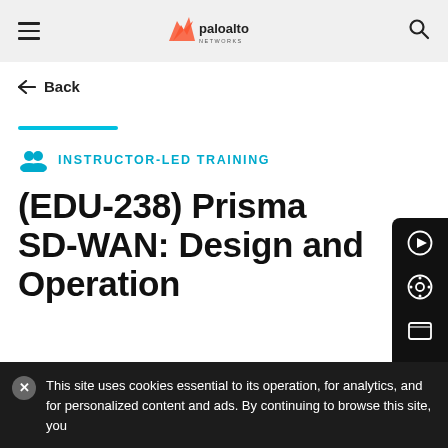Palo Alto Networks
← Back
INSTRUCTOR-LED TRAINING
(EDU-238) Prisma SD-WAN: Design and Operation
LEVEL
This site uses cookies essential to its operation, for analytics, and for personalized content and ads. By continuing to browse this site, you